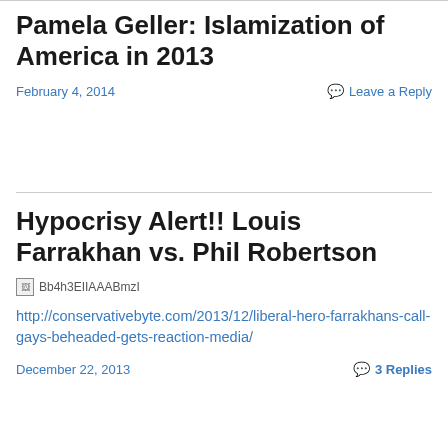Pamela Geller: Islamization of America in 2013
February 4, 2014
Leave a Reply
Hypocrisy Alert!! Louis Farrakhan vs. Phil Robertson
[Figure (other): Broken image placeholder with alt text Bb4h3EIIAAABmzI]
http://conservativebyte.com/2013/12/liberal-hero-farrakhans-call-gays-beheaded-gets-reaction-media/
December 22, 2013
3 Replies